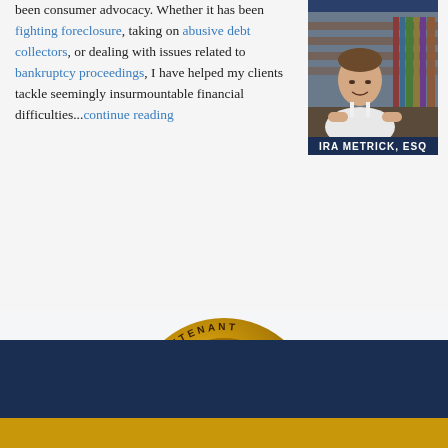been consumer advocacy. Whether it has been fighting foreclosure, taking on abusive debt collectors, or dealing with issues related to bankruptcy proceedings, I have helped my clients tackle seemingly insurmountable financial difficulties...continue reading
[Figure (photo): Portrait photo of Ira Metrick, Esq., a man in a white shirt seated in front of law books, with a dark blue nameplate reading IRA METRICK, ESQ]
[Figure (illustration): Gold circular badge/medal reading '1st Lieutenant Max Gardner's Bankruptcy Boot Camp Bankruptcy Litigation Model' with military boot imagery in the center]
Important Links
Foreclosure Defense
Contact Us   732-462-7000